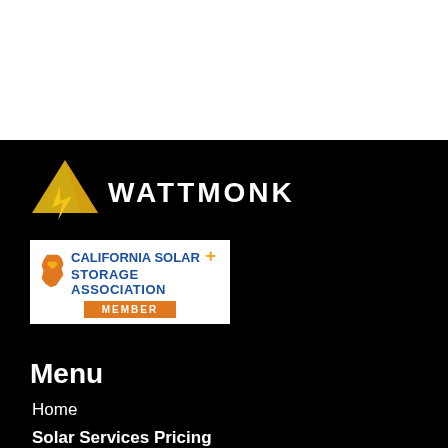[Figure (logo): Wattmonk logo with pyramid/lightning bolt icon and WATTMONK wordmark in white on black background]
[Figure (logo): California Solar + Storage Association Member badge/logo]
Menu
Home
Solar Services Pricing